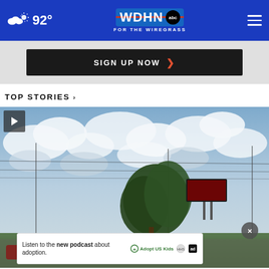WDHN ABC FOR THE WIREGRASS — 92°
[Figure (screenshot): SIGN UP NOW button with orange chevron on dark background]
TOP STORIES ›
[Figure (photo): Outdoor scene with cloudy blue sky, trees, billboard, power lines, and a 'Listen to the new podcast about adoption' ad banner with Adopt US Kids and ad logos, and a close (×) button]
Listen to the new podcast about adoption.